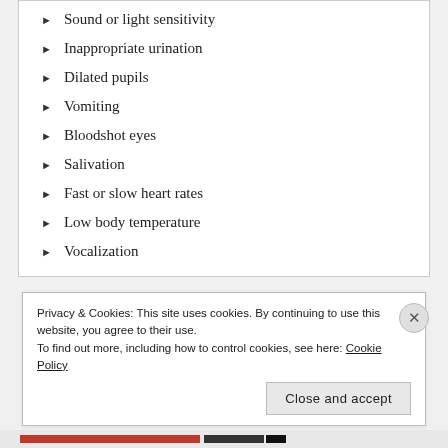Sound or light sensitivity
Inappropriate urination
Dilated pupils
Vomiting
Bloodshot eyes
Salivation
Fast or slow heart rates
Low body temperature
Vocalization
Privacy & Cookies: This site uses cookies. By continuing to use this website, you agree to their use. To find out more, including how to control cookies, see here: Cookie Policy
Close and accept